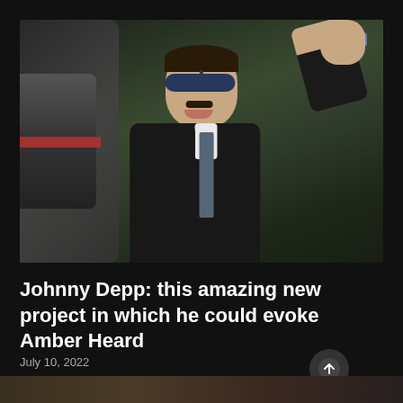[Figure (photo): Photo of Johnny Depp wearing dark sunglasses and a black suit, raising one arm with a colorful bracelet visible, smiling, against a blurred green/dark background]
Johnny Depp: this amazing new project in which he could evoke Amber Heard
July 10, 2022